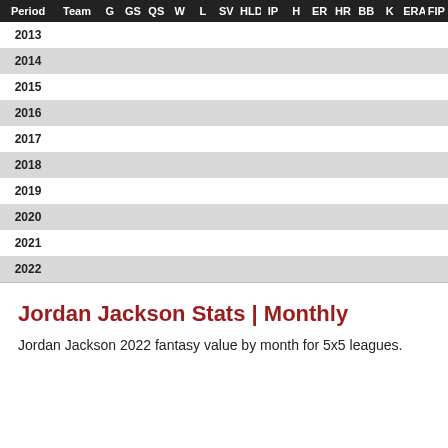| Period | Team | G | GS | QS | W | L | SV | HLD | IP | H | ER | HR | BB | K | ERA | FIP |
| --- | --- | --- | --- | --- | --- | --- | --- | --- | --- | --- | --- | --- | --- | --- | --- | --- |
| 2013 |  |  |  |  |  |  |  |  |  |  |  |  |  |  |  |  |
| 2014 |  |  |  |  |  |  |  |  |  |  |  |  |  |  |  |  |
| 2015 |  |  |  |  |  |  |  |  |  |  |  |  |  |  |  |  |
| 2016 |  |  |  |  |  |  |  |  |  |  |  |  |  |  |  |  |
| 2017 |  |  |  |  |  |  |  |  |  |  |  |  |  |  |  |  |
| 2018 |  |  |  |  |  |  |  |  |  |  |  |  |  |  |  |  |
| 2019 |  |  |  |  |  |  |  |  |  |  |  |  |  |  |  |  |
| 2020 |  |  |  |  |  |  |  |  |  |  |  |  |  |  |  |  |
| 2021 |  |  |  |  |  |  |  |  |  |  |  |  |  |  |  |  |
| 2022 |  |  |  |  |  |  |  |  |  |  |  |  |  |  |  |  |
Jordan Jackson Stats | Monthly
Jordan Jackson 2022 fantasy value by month for 5x5 leagues.